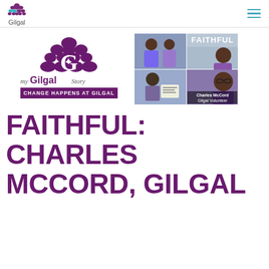Gilgal
[Figure (logo): My Gilgal Story logo with purple G emblem and tagline CHANGE HAPPENS AT GILGAL]
[Figure (photo): Photo collage labeled FAITHFUL showing Charles McCord, Gilgal Volunteer, with other people in purple shirts]
FAITHFUL: CHARLES MCCORD, GILGAL